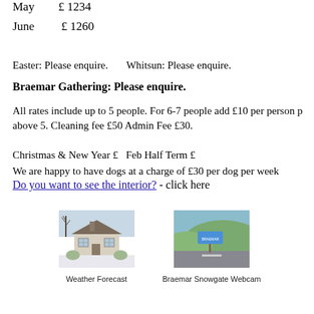May       £ 1234
June       £ 1260
Easter: Please enquire.      Whitsun: Please enquire.
Braemar Gathering: Please enquire.
All rates include up to 5 people. For 6-7 people add £10 per person p above 5. Cleaning fee £50 Admin Fee £30.
Christmas & New Year £   Feb Half Term £
We are happy to have dogs at a charge of £30 per dog per week
Do you want to see the interior? - click here
[Figure (photo): Exterior photo of a cottage/bungalow house in winter with bare trees]
Weather Forecast
[Figure (photo): Photo of a road sign (Braemar Snowgate) with green hillside in background]
Braemar Snowgate Webcam